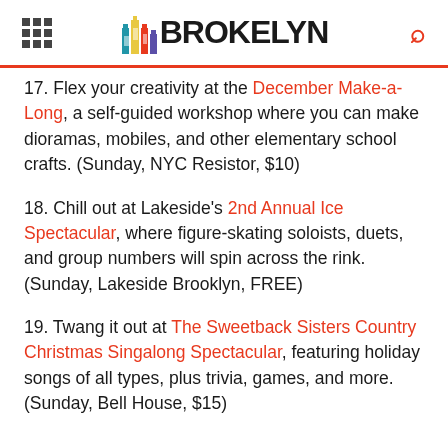BROKELYN
17. Flex your creativity at the December Make-a-Long, a self-guided workshop where you can make dioramas, mobiles, and other elementary school crafts. (Sunday, NYC Resistor, $10)
18. Chill out at Lakeside's 2nd Annual Ice Spectacular, where figure-skating soloists, duets, and group numbers will spin across the rink. (Sunday, Lakeside Brooklyn, FREE)
19. Twang it out at The Sweetback Sisters Country Christmas Singalong Spectacular, featuring holiday songs of all types, plus trivia, games, and more. (Sunday, Bell House, $15)